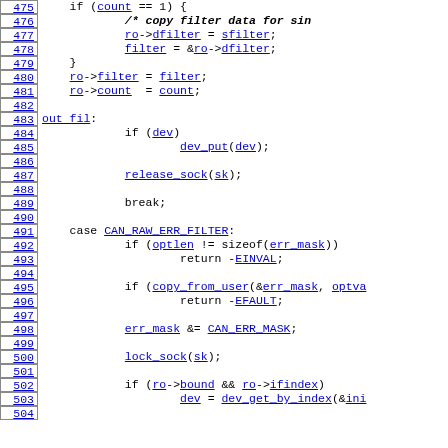[Figure (screenshot): Source code listing with line numbers 475-504 showing C code for CAN socket filter handling, including if statements, assignments, case labels, and function calls with hyperlinked identifiers.]